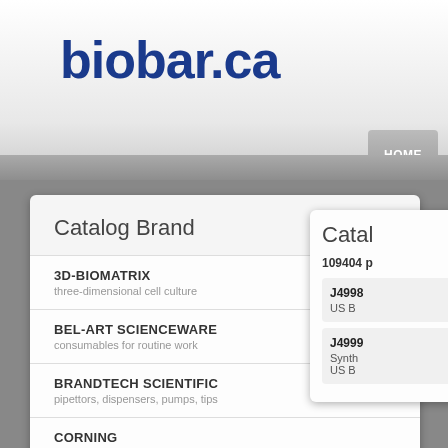[Figure (screenshot): biobar.ca website screenshot showing header with logo, navigation bar with HOME button, and two overlapping panels: a Catalog Brand dropdown listing 3D-BIOMATRIX, BEL-ART SCIENCEWARE, BRANDTECH SCIENTIFIC, and CORNING, and a partially visible right panel showing catalog items.]
biobar.ca
HOME
Catalog Brand
3D-BIOMATRIX
three-dimensional cell culture
BEL-ART SCIENCEWARE
consumables for routine work
BRANDTECH SCIENTIFIC
pipettors, dispensers, pumps, tips
CORNING
glassware, equipments
Catal
109404 p
J4998
US B
J4999
Synth
US B